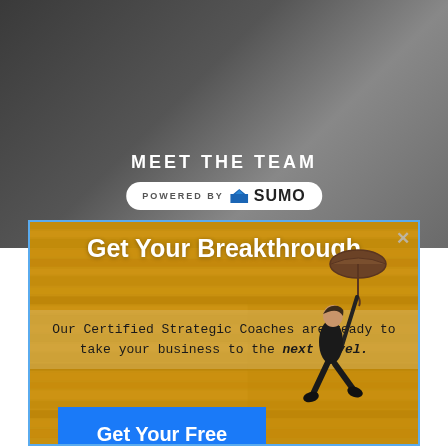[Figure (screenshot): Dark gray background simulating a website background with subtle texture]
MEET THE TEAM
[Figure (logo): POWERED BY SUMO badge with crown logo in white rounded pill shape]
[Figure (screenshot): Modal popup over yellow wooden plank background with a woman holding an umbrella. Modal contains headline, subtext, CTA button, and No Thanks link.]
Get Your Breakthrough
Our Certified Strategic Coaches are ready to take your business to the next level.
Get Your Free Coaching Call
No Thanks